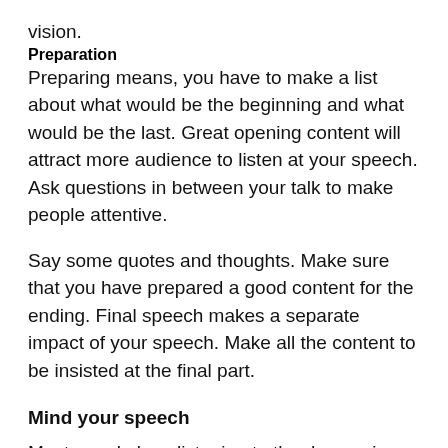vision.
Preparation
Preparing means, you have to make a list about what would be the beginning and what would be the last. Great opening content will attract more audience to listen at your speech. Ask questions in between your talk to make people attentive.
Say some quotes and thoughts. Make sure that you have prepared a good content for the ending. Final speech makes a separate impact of your speech. Make all the content to be insisted at the final part.
Mind your speech
Most people love listening to the deep voices of men